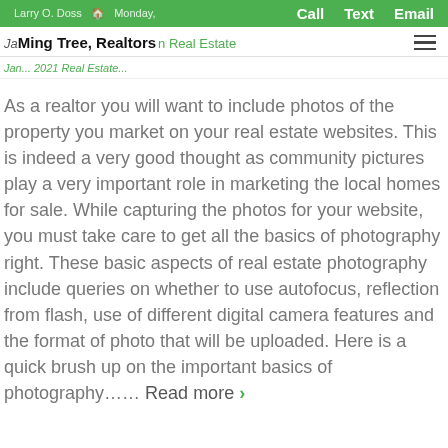Larry O. Doss  Monday,  Call  Text  Email
Ming Tree, Realtors  Jan ... 2021 Real Estate
As a realtor you will want to include photos of the property you market on your real estate websites. This is indeed a very good thought as community pictures play a very important role in marketing the local homes for sale. While capturing the photos for your website, you must take care to get all the basics of photography right. These basic aspects of real estate photography include queries on whether to use autofocus, reflection from flash, use of different digital camera features and the format of photo that will be uploaded. Here is a quick brush up on the important basics of photography…… Read more ›